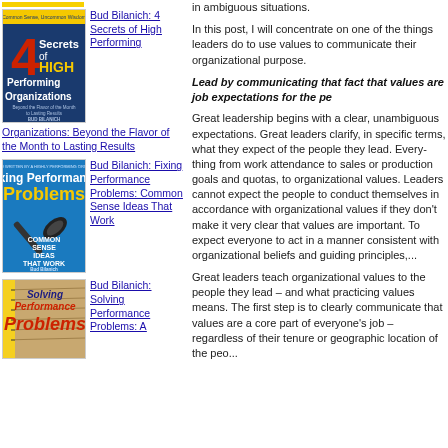[Figure (illustration): Book cover: 4 Secrets of High Performing Organizations by Bud Bilanich]
Bud Bilanich: 4 Secrets of High Performing
Organizations: Beyond the Flavor of the Month to Lasting Results
[Figure (illustration): Book cover: Fixing Performance Problems by Bud Bilanich]
Bud Bilanich: Fixing Performance Problems: Common Sense Ideas That Work
[Figure (illustration): Book cover: Solving Performance Problems by Bud Bilanich]
Bud Bilanich: Solving Performance Problems: A
in ambiguous situations.
In this post, I will concentrate on one of the things leaders do to use values to communicate their organizational purpose.
Lead by communicating that fact that values are job expectations for the pe
Great leadership begins with a clear, unambiguous expectations. Great leaders clarify, in specific terms, what they expect of the people they lead. Everything from work attendance to sales or production goals and quotas, to organizational values. Leaders cannot expect the people to conduct themselves in accordance with organizational values if they don't make it very clear that values are important. To expect everyone to act in a manner consistent with organizational beliefs and guiding principles,...
Great leaders teach organizational values to the people they lead – and what practicing values means. The first step is to clearly communicate that values are a core part of everyone's job – regardless of their tenure or geographic location of the people...